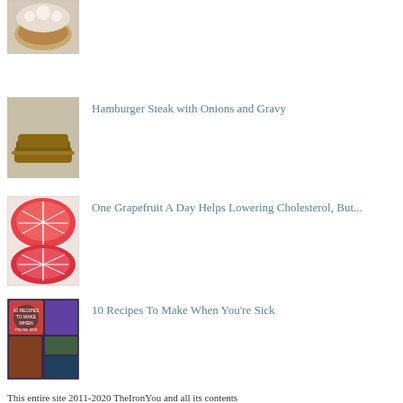[Figure (photo): Food photo thumbnail - dish with white topping]
[Figure (photo): Food photo thumbnail - stacked hamburger steaks]
Hamburger Steak with Onions and Gravy
[Figure (photo): Food photo thumbnail - sliced grapefruit halves]
One Grapefruit A Day Helps Lowering Cholesterol, But...
[Figure (photo): Food photo thumbnail - 10 Recipes To Make When You're Sick collage]
10 Recipes To Make When You're Sick
This entire site 2011-2020 TheIronYou and all its contents